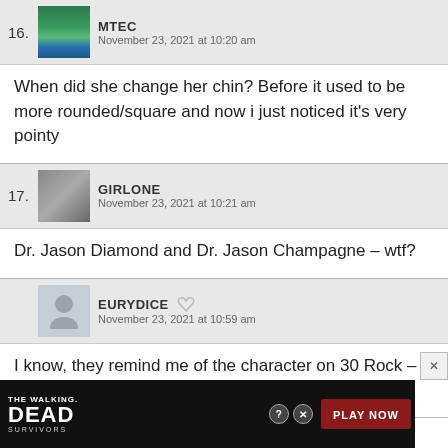16. MTEC — November 23, 2021 at 10:20 am — When did she change her chin? Before it used to be more rounded/square and now i just noticed it’s very pointy
17. GIRLONE — November 23, 2021 at 10:21 am — Dr. Jason Diamond and Dr. Jason Champagne – wtf?
EURYDICE — November 23, 2021 at 10:59 am — I know, they remind me of the character on 30 Rock – Dr. Spaceman (pronounced Spa-CHE-man).
[Figure (screenshot): Advertisement banner for The Walking Dead Survivors game with Play Now button]